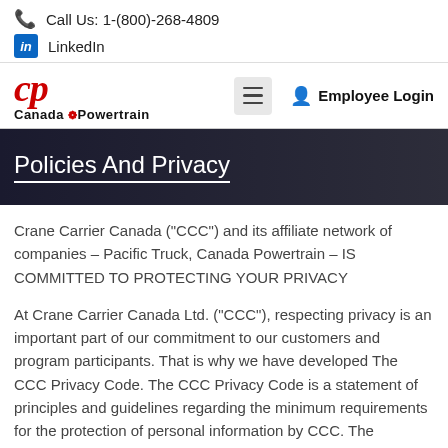Call Us: 1-(800)-268-4809
LinkedIn
[Figure (logo): Canada Powertrain logo with red CP initials in italic and company name below]
Employee Login
Policies And Privacy
Crane Carrier Canada (“CCC”) and its affiliate network of companies – Pacific Truck, Canada Powertrain – IS COMMITTED TO PROTECTING YOUR PRIVACY
At Crane Carrier Canada Ltd. (“CCC”), respecting privacy is an important part of our commitment to our customers and program participants. That is why we have developed The CCC Privacy Code. The CCC Privacy Code is a statement of principles and guidelines regarding the minimum requirements for the protection of personal information by CCC. The objective of The CCC Privacy Code is to ensure t...